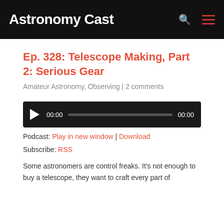Astronomy Cast
Ep. 328: Telescope Making, Part 2: Serious Gear
Amateur Astronomy, Observing | 2 comments
[Figure (other): Audio player with play button, time display 00:00, progress bar, and end time 00:00]
Podcast: Play in new window | Download
Subscribe: RSS
Some astronomers are control freaks. It's not enough to buy a telescope, they want to craft every part of